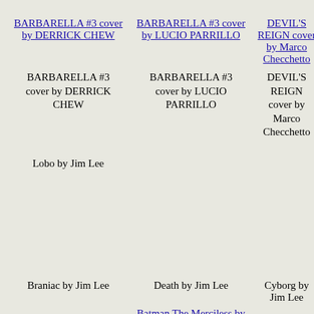[Figure (other): Thumbnail image link: BARBARELLA #3 cover by DERRICK CHEW]
BARBARELLA #3 cover by DERRICK CHEW
[Figure (other): Thumbnail image link: BARBARELLA #3 cover by LUCIO PARRILLO]
BARBARELLA #3 cover by LUCIO PARRILLO
[Figure (other): Thumbnail image link: DEVIL'S REIGN cover by Marco Checchetto]
DEVIL'S REIGN cover by Marco Checchetto
[Figure (other): Thumbnail image link: Lobo by Jim Lee]
Lobo by Jim Lee
Death by Jim Lee
Cyborg by Jim Lee
[Figure (other): Thumbnail image link: Braniac by Jim Lee]
Braniac by Jim Lee
[Figure (other): Thumbnail image link: Batman The Merciless by Jim Lee]
Batman The Merciless by Jim Lee